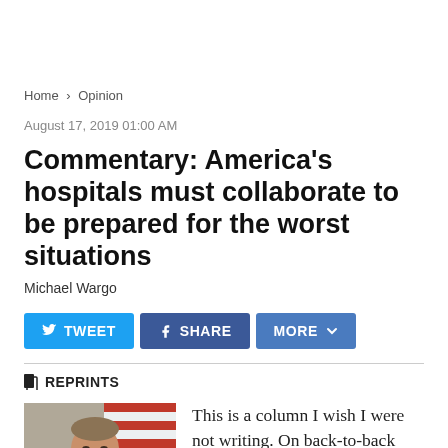Home > Opinion
August 17, 2019 01:00 AM
Commentary: America's hospitals must collaborate to be prepared for the worst situations
Michael Wargo
[Figure (other): Social sharing buttons: TWEET, SHARE, MORE with dropdown arrow]
REPRINTS
[Figure (photo): Headshot photo of Michael Wargo in front of an American flag]
This is a column I wish I were not writing. On back-to-back weekends recently, HCA Healthcare hospitals in San Jose